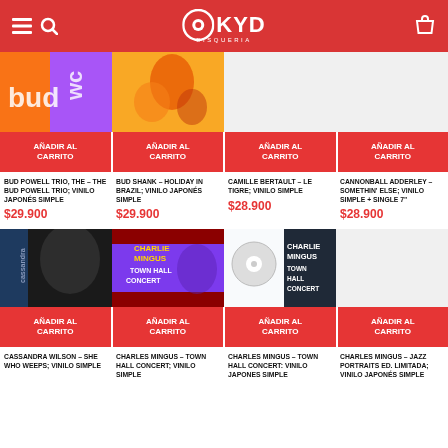KYD Disqueria
[Figure (screenshot): Partial album cover - Bud Powell Trio (orange and purple)]
AÑADIR AL CARRITO
BUD POWELL TRIO, THE – THE BUD POWELL TRIO; VINILO JAPONÉS SIMPLE
$29.900
[Figure (screenshot): Partial album cover - Bud Shank Holiday in Brazil]
AÑADIR AL CARRITO
BUD SHANK – HOLIDAY IN BRAZIL; VINILO JAPONÉS SIMPLE
$29.900
AÑADIR AL CARRITO
CAMILLE BERTAULT – LE TIGRE; VINILO SIMPLE
$28.900
AÑADIR AL CARRITO
CANNONBALL ADDERLEY – SOMETHIN' ELSE; VINILO SIMPLE + SINGLE 7"
$28.900
[Figure (photo): Album cover - Cassandra Wilson She Who Weeps (dark/black)]
AÑADIR AL CARRITO
CASSANDRA WILSON – SHE WHO WEEPS; VINILO SIMPLE
[Figure (photo): Album cover - Charles Mingus Town Hall Concert (purple/red)]
AÑADIR AL CARRITO
CHARLES MINGUS – TOWN HALL CONCERT; VINILO SIMPLE
[Figure (photo): Album cover - Charles Mingus Town Hall Concert (black and white)]
AÑADIR AL CARRITO
CHARLES MINGUS – TOWN HALL CONCERT: VINILO JAPONES SIMPLE
AÑADIR AL CARRITO
CHARLES MINGUS – JAZZ PORTRAITS ED. LIMITADA; VINILO JAPONÉS SIMPLE